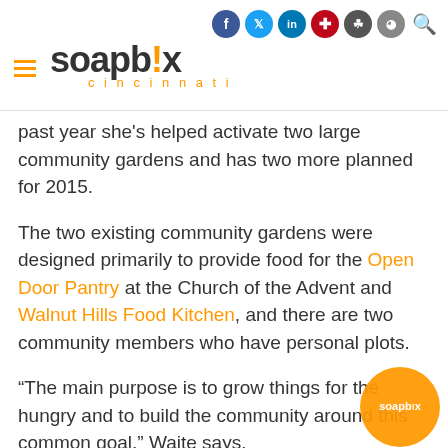soapbox cincinnati
past year she's helped activate two large community gardens and has two more planned for 2015.
The two existing community gardens were designed primarily to provide food for the Open Door Pantry at the Church of the Advent and Walnut Hills Food Kitchen, and there are two community members who have personal plots.
“The main purpose is to grow things for the hungry and to build the community around this common goal,” Waite says.